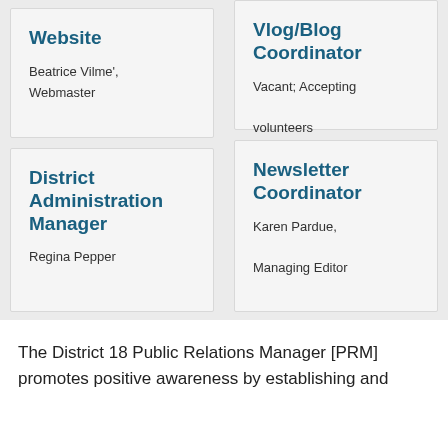Website
Beatrice Vilme', Webmaster
District Administration Manager
Regina Pepper
Vlog/Blog Coordinator
Vacant; Accepting volunteers
Newsletter Coordinator
Karen Pardue, Managing Editor
The District 18 Public Relations Manager [PRM] promotes positive awareness by establishing and